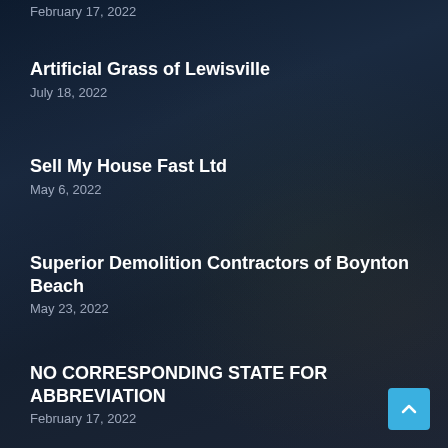February 17, 2022
Artificial Grass of Lewisville
July 18, 2022
Sell My House Fast Ltd
May 6, 2022
Superior Demolition Contractors of Boynton Beach
May 23, 2022
NO CORRESPONDING STATE FOR ABBREVIATION
February 17, 2022